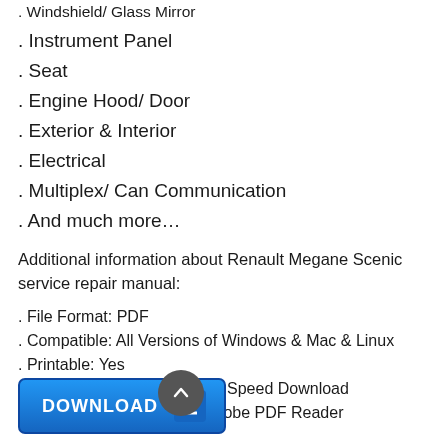. Windshield/ Glass Mirror
. Instrument Panel
. Seat
. Engine Hood/ Door
. Exterior & Interior
. Electrical
. Multiplex/ Can Communication
. And much more…
Additional information about Renault Megane Scenic service repair manual:
. File Format: PDF
. Compatible: All Versions of Windows & Mac & Linux
. Printable: Yes
. Downloadable: Instant High Speed Download
. Requirements: WinZip & Adobe PDF Reader
[Figure (other): Blue DOWNLOAD button with downward arrow icon, and a dark circular back-to-top arrow button]